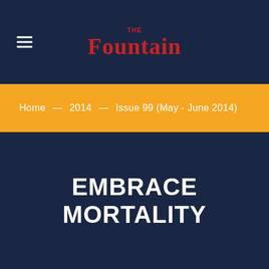The Fountain
Home — 2014 — Issue 99 (May - June 2014)
EMBRACE MORTALITY